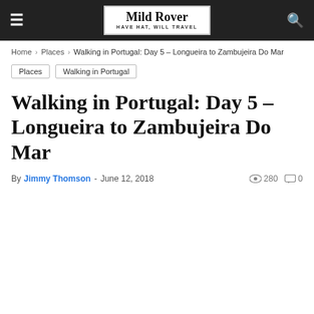Mild Rover – HAVE HAT, WILL TRAVEL
Home › Places › Walking in Portugal: Day 5 – Longueira to Zambujeira Do Mar
Places
Walking in Portugal
Walking in Portugal: Day 5 – Longueira to Zambujeira Do Mar
By Jimmy Thomson - June 12, 2018   280  0